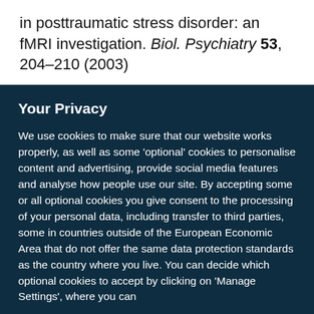in posttraumatic stress disorder: an fMRI investigation. Biol. Psychiatry 53, 204–210 (2003)
Your Privacy
We use cookies to make sure that our website works properly, as well as some 'optional' cookies to personalise content and advertising, provide social media features and analyse how people use our site. By accepting some or all optional cookies you give consent to the processing of your personal data, including transfer to third parties, some in countries outside of the European Economic Area that do not offer the same data protection standards as the country where you live. You can decide which optional cookies to accept by clicking on 'Manage Settings', where you can
Get the most important science stories of the day, free in your inbox.
Sign up for Nature Briefing